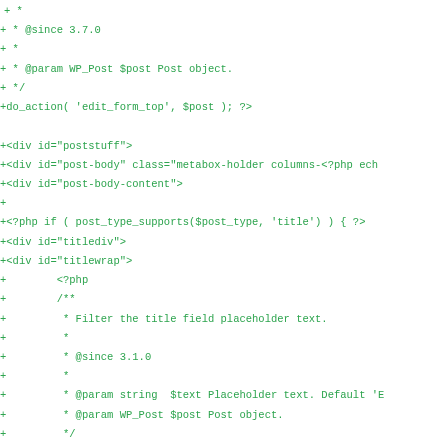[Figure (screenshot): Code diff view showing PHP/HTML source code additions and removals in green monospace font on white background. Lines prefixed with + are additions and - are removals.]